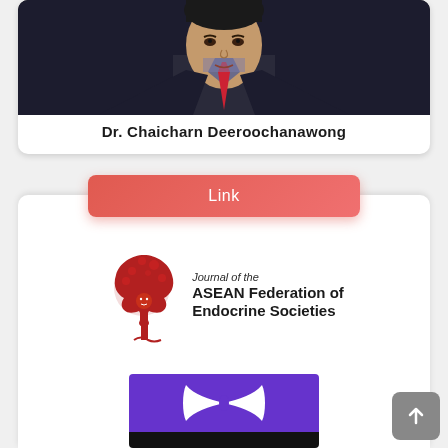[Figure (photo): Portrait photo of Dr. Chaicharn Deeroochanawong in a dark suit with striped shirt and red patterned tie]
Dr. Chaicharn Deeroochanawong
Link
[Figure (logo): Journal of the ASEAN Federation of Endocrine Societies logo — red tree/figure illustration with text]
[Figure (logo): ADTA logo — purple top with white butterfly icon, black bottom with white ADTA lettering]